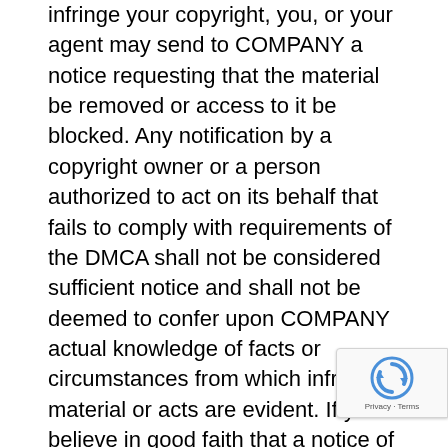infringe your copyright, you, or your agent may send to COMPANY a notice requesting that the material be removed or access to it be blocked. Any notification by a copyright owner or a person authorized to act on its behalf that fails to comply with requirements of the DMCA shall not be considered sufficient notice and shall not be deemed to confer upon COMPANY actual knowledge of facts or circumstances from which infringing material or acts are evident. If you believe in good faith that a notice of copyright infringement has been wrongly filed against you, the DMCA permits you to send to COMPANY a counter-notice. All notices and counter notices must meet the then current statutory requirements imposed by the
[Figure (other): reCAPTCHA badge with spinning arrows logo and 'Privacy - Terms' text]